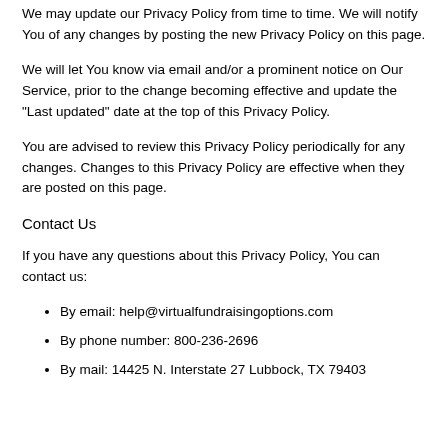We may update our Privacy Policy from time to time. We will notify You of any changes by posting the new Privacy Policy on this page.
We will let You know via email and/or a prominent notice on Our Service, prior to the change becoming effective and update the "Last updated" date at the top of this Privacy Policy.
You are advised to review this Privacy Policy periodically for any changes. Changes to this Privacy Policy are effective when they are posted on this page.
Contact Us
If you have any questions about this Privacy Policy, You can contact us:
By email: help@virtualfundraisingoptions.com
By phone number: 800-236-2696
By mail: 14425 N. Interstate 27 Lubbock, TX 79403